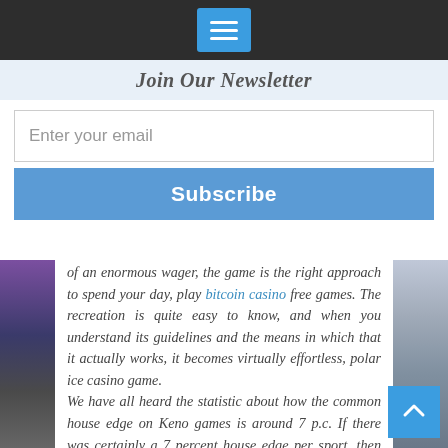Join Our Newsletter
Enter your email
Subscribe
of an enormous wager, the game is the right approach to spend your day, play bitcoin casino free games. The recreation is quite easy to know, and when you understand its guidelines and the means in which that it actually works, it becomes virtually effortless, polar ice casino game.
We have all heard the statistic about how the common house edge on Keno games is around 7 p.c. If there was certainly a 7 percent house edge per sport, then this sport has to value between $600 and $900, polar game casino ice. The drawback with that